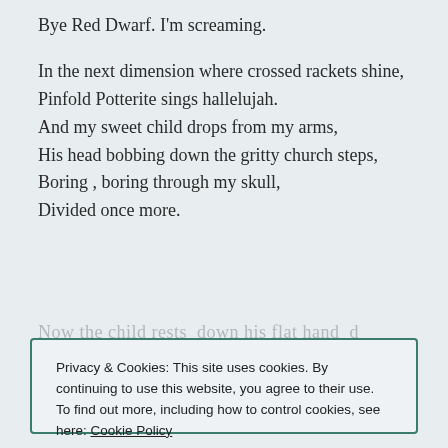Bye Red Dwarf.  I'm screaming.
In the next dimension where crossed rackets shine,
Pinfold Potterite sings hallelujah.
And my sweet child drops from my arms,
His head bobbing down the gritty church steps,
Boring , boring through my skull,
Divided once more.
[faded partial line]
Privacy & Cookies: This site uses cookies. By continuing to use this website, you agree to their use.
To find out more, including how to control cookies, see here: Cookie Policy
Close and accept